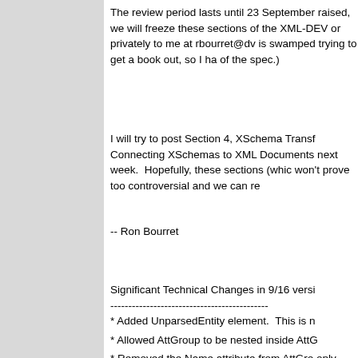The review period lasts until 23 September raised, we will freeze these sections of the XML-DEV or privately to me at rbourret@dv is swamped trying to get a book out, so I ha of the spec.)
I will try to post Section 4, XSchema Transf Connecting XSchemas to XML Documents next week.  Hopefully, these sections (whic won't prove too controversial and we can re
-- Ron Bourret
Significant Technical Changes in 9/16 versi
--------------------------------------------
* Added UnparsedEntity element.  This is n

* Allowed AttGroup to be nested inside AttG

* Removed the Name attribute from AttGro only needs an id.)

* Added the id, ns, and prefix attributes to A